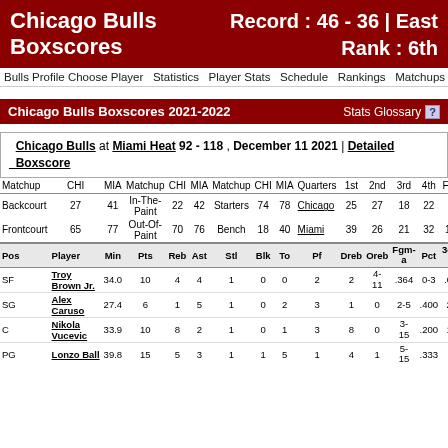Chicago Bulls Boxscores | Record : 46 - 36 | East Rank : 6th
Bulls Profile | Choose Player | Statistics | Player Stats | Schedule | Rankings | Matchups | S…
Chicago Bulls Boxscores 2021-2022
Stats Glossary ?
Chicago Bulls at Miami Heat 92 - 118 , December 11 2021 | Detailed Boxscore
| Matchup | CHI | MIA | Matchup | CHI | MIA | Matchup | CHI | MIA | Quarters | 1st | 2nd | 3rd | 4th | Final |
| --- | --- | --- | --- | --- | --- | --- | --- | --- | --- | --- | --- | --- | --- | --- |
| Backcourt | 27 | 41 | In-The-Paint | 22 | 42 | Starters | 74 | 78 | Chicago | 25 | 27 | 18 | 22 | 92 |
| Frontcourt | 65 | 77 | Out-Of-Paint | 70 | 76 | Bench | 18 | 40 | Miami | 39 | 26 | 21 | 32 | 118 |
| Pos | Player | Min | Pts | Reb | Ast | Stl | Blk | To | Pf | Dreb | Oreb | Fgm-a | Pct | 3gm-a | Pct | Ftm-a | Pct | Eff |
| --- | --- | --- | --- | --- | --- | --- | --- | --- | --- | --- | --- | --- | --- | --- | --- | --- | --- | --- |
| SF | Troy Brown Jr. | 34.0 | 10 | 4 | 4 | 1 | 0 | 0 | 2 | 2 | 4-11 | .364 | 0-3 | .000 | 2-2 | 1.00 | 12 |
| SG | Alex Caruso | 27.4 | 6 | 1 | 5 | 1 | 0 | 2 | 3 | 1 | 0 | 2-5 | .400 | 2-3 | .667 | 0-0 | - | 8 |
| C | Nikola Vucevic | 33.9 | 10 | 8 | 2 | 1 | 0 | 1 | 3 | 8 | 0 | 3-15 | .200 | 1-4 | .250 | 3-4 | .750 | 7 |
| PG | Lonzo Ball | 39.8 | 15 | 5 | 3 | 1 | 1 | 5 | 1 | 4 | 1 | 5-15 | .333 | 4-12 | .333 | 1-3 | .333 | 8 |